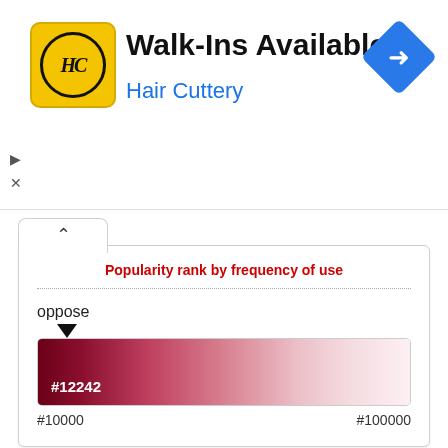[Figure (screenshot): Hair Cuttery advertisement banner with logo, 'Walk-Ins Available' headline, and navigation icon]
Walk-Ins Available
Hair Cuttery
Popularity rank by frequency of use
[Figure (infographic): Horizontal gradient bar from dark red (#7a0020) to near white, with a downward triangle marker above the left region, label #12242 inside the bar, and range labels #10000 to #100000 below]